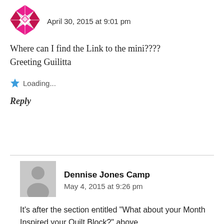[Figure (illustration): Small quilt-pattern avatar icon in pink/red and white geometric diamond pattern]
April 30, 2015 at 9:01 pm
Where can I find the Link to the mini????
Greeting Guilitta
Loading...
Reply
[Figure (illustration): Generic gray person/user avatar silhouette]
Dennise Jones Camp
May 4, 2015 at 9:26 pm
It’s after the section entitled “What about your Month Inspired your Quilt Block?” above.